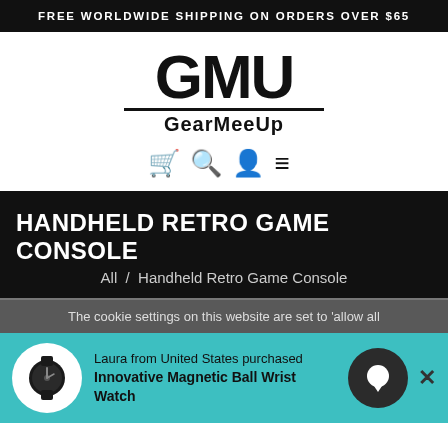FREE WORLDWIDE SHIPPING ON ORDERS OVER $65
[Figure (logo): GMU GearMeeUp logo with large bold letters GMU above the text GearMeeUp, separated by a horizontal line]
[Figure (infographic): Navigation icons: shopping cart, magnifying glass, person/user, hamburger menu]
HANDHELD RETRO GAME CONSOLE
All  /  Handheld Retro Game Console
The cookie settings on this website are set to 'allow all
Laura from United States purchased Innovative Magnetic Ball Wrist Watch